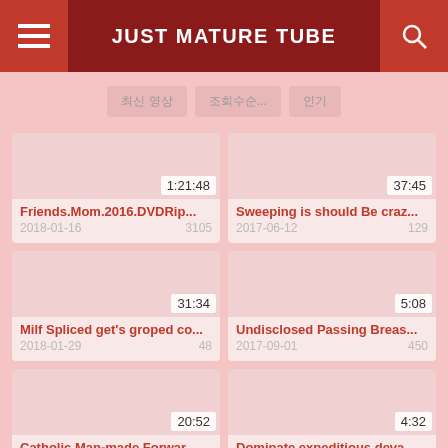JUST MATURE TUBE
최신 영상 | 조회수순... | 인기
[Figure (screenshot): Video thumbnail with duration 1:21:48]
Friends.Mom.2016.DVDRip... 2018-01-16 3105
[Figure (screenshot): Video thumbnail with duration 37:45]
Sweeping is should Be craz... 2017-06-12 129
[Figure (screenshot): Video thumbnail with duration 31:34]
Milf Spliced get's groped co... 2018-01-29 48
[Figure (screenshot): Video thumbnail with duration 5:08]
Undisclosed Passing Breas... 2017-09-01 450
[Figure (screenshot): Video thumbnail with duration 20:52]
Catholic Man-made Forwar... 2018-01-03 36
[Figure (screenshot): Video thumbnail with duration 4:32]
Dominate expeditious deva... 2017-09-29 34
[Figure (screenshot): Video thumbnail with duration 45:51]
[Figure (screenshot): Video thumbnail with duration 18:10]